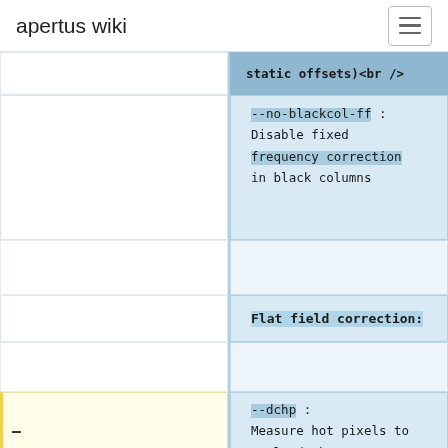apertus wiki
static offsets)<br />
--no-blackcol-ff : Disable fixed frequency correction in black columns
Flat field correction:
--dchp : Measure hot pixels to scale dark current frame<br />
--no-darkframe : Disable dark frame (if darkframe-xN.pgm is present)<br />